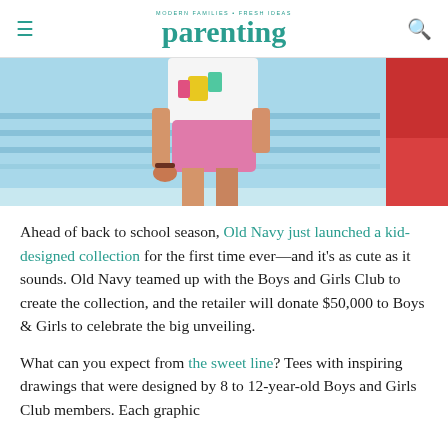MODERN FAMILIES + FRESH IDEAS parenting
[Figure (photo): Child wearing white graphic tee and pink shorts, posing outdoors near blue railings and a red structure]
Ahead of back to school season, Old Navy just launched a kid-designed collection for the first time ever—and it's as cute as it sounds. Old Navy teamed up with the Boys and Girls Club to create the collection, and the retailer will donate $50,000 to Boys & Girls to celebrate the big unveiling.
What can you expect from the sweet line? Tees with inspiring drawings that were designed by 8 to 12-year-old Boys and Girls Club members. Each graphic